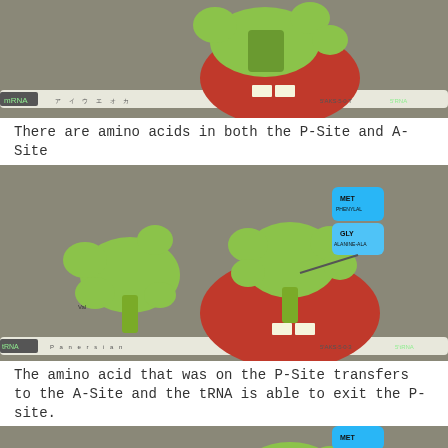[Figure (photo): Photo of a physical model of a ribosome with tRNA molecules (green foam shapes) attached to an mRNA strand (white strip). The ribosome body is red/pink foam. Labels on the mRNA strip are visible. The model sits on a gray surface.]
There are amino acids in both the P-Site and A-Site
[Figure (photo): Photo of a physical model showing the ribosome (red/pink foam) with two tRNA molecules (green foam shapes) — one departing on the left (E-site) and one in the center (P or A site). A blue cylinder stack on top represents the growing polypeptide chain with labels. The mRNA strand (white strip) runs along the bottom. Labels are visible on the mRNA and on the blue polypeptide model.]
The amino acid that was on the P-Site transfers to the A-Site and the tRNA is able to exit the P-site.
[Figure (photo): Partial photo at page bottom showing the top portion of another ribosome model with a blue cylindrical polypeptide stack visible above a green tRNA foam shape.]